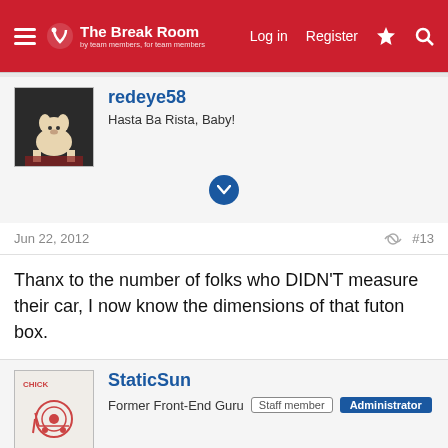The Break Room — Log in | Register
redeye58 — Hasta Ba Rista, Baby!
Jun 22, 2012  #13
Thanx to the number of folks who DIDN'T measure their car, I now know the dimensions of that futon box.
StaticSun — Former Front-End Guru  Staff member  Administrator
Jun 22, 2012  #14
We lend guests a tape measure before they buy a large object... just in case!